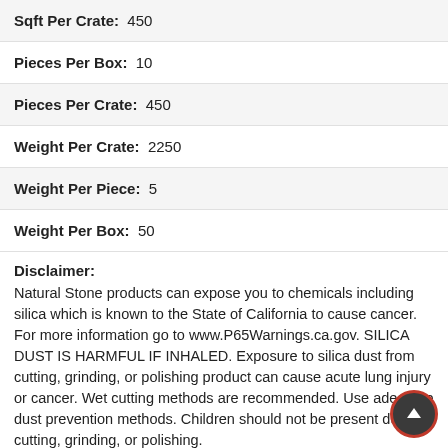Sqft Per Crate: 450
Pieces Per Box: 10
Pieces Per Crate: 450
Weight Per Crate: 2250
Weight Per Piece: 5
Weight Per Box: 50
Disclaimer: Natural Stone products can expose you to chemicals including silica which is known to the State of California to cause cancer. For more information go to www.P65Warnings.ca.gov. SILICA DUST IS HARMFUL IF INHALED. Exposure to silica dust from cutting, grinding, or polishing product can cause acute lung injury or cancer. Wet cutting methods are recommended. Use adequate dust prevention methods. Children should not be present during cutting, grinding, or polishing.